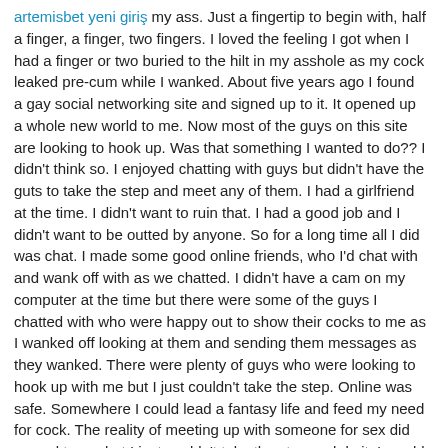artemisbet yeni giriş my ass. Just a fingertip to begin with, half a finger, a finger, two fingers. I loved the feeling I got when I had a finger or two buried to the hilt in my asshole as my cock leaked pre-cum while I wanked. About five years ago I found a gay social networking site and signed up to it. It opened up a whole new world to me. Now most of the guys on this site are looking to hook up. Was that something I wanted to do?? I didn't think so. I enjoyed chatting with guys but didn't have the guts to take the step and meet any of them. I had a girlfriend at the time. I didn't want to ruin that. I had a good job and I didn't want to be outted by anyone. So for a long time all I did was chat. I made some good online friends, who I'd chat with and wank off with as we chatted. I didn't have a cam on my computer at the time but there were some of the guys I chatted with who were happy out to show their cocks to me as I wanked off looking at them and sending them messages as they wanked. There were plenty of guys who were looking to hook up with me but I just couldn't take the step. Online was safe. Somewhere I could lead a fantasy life and feed my need for cock. The reality of meeting up with someone for sex did appeal to me but I just couldn't take the step and do it. I would feel guilty after shooting a load and tell myself it was something I could never do. I'm sure many of you bisexual guys reading this understand what I mean. For a time I would stay off the site, avoid chatting with guys etc but I was always drawn back. I began to tell myself that I would not meet a guy, I was happy with simply chatting online with them, having phone sex with them.